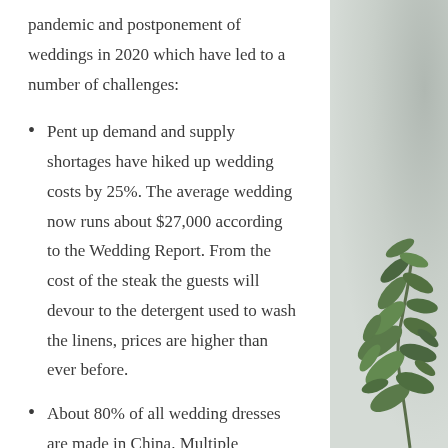pandemic and postponement of weddings in 2020 which have led to a number of challenges:
Pent up demand and supply shortages have hiked up wedding costs by 25%.  The average wedding now runs about $27,000 according to the Wedding Report.  From the cost of the steak the guests will devour to the detergent used to wash the linens, prices are higher than ever before.
About 80% of all wedding dresses are made in China. Multiple outbreaks of COVID and
[Figure (photo): Right side decorative panel with grey stone/concrete texture background and green leaves plant visible in the lower right corner]